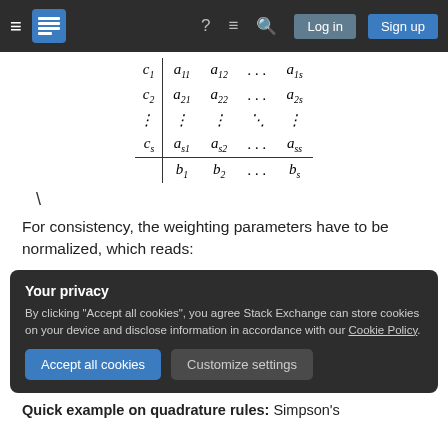Stack Exchange navigation bar with hamburger menu, logo, help, chat, search, Log in, Sign up
\
For consistency, the weighting parameters have to be normalized, which reads:
Your privacy - By clicking "Accept all cookies", you agree Stack Exchange can store cookies on your device and disclose information in accordance with our Cookie Policy.
Quick example on quadrature rules: Simpson's